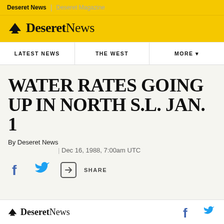Deseret News | Deseret Magazine
[Figure (logo): Deseret News logo with mountain icon on yellow background]
LATEST NEWS | THE WEST | MORE
WATER RATES GOING UP IN NORTH S.L. JAN. 1
By Deseret News
| Dec 16, 1988, 7:00am UTC
[Figure (other): Social sharing icons: Facebook, Twitter, Share button with SHARE label]
Deseret News [logo] with Facebook and Twitter icons